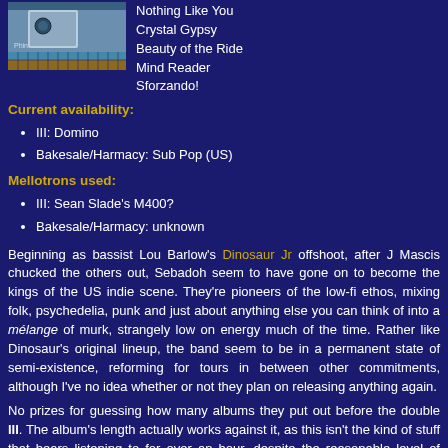[Figure (photo): Album cover photo showing a building exterior with tiled mosaic pattern in blue and brown/gold tiles]
Nothing Like You
Crystal Gypsy
Beauty of the Ride
Mind Reader
Sforzando!
Current availability:
III: Domino
Bakesale/Harmacy: Sub Pop (US)
Mellotrons used:
III: Sean Slade's M400?
Bakesale/Harmacy: unknown
Beginning as bassist Lou Barlow's Dinosaur Jr offshoot, after J Mascis chucked the others out, Sebadoh seem to have gone on to become the kings of the US indie scene. They're pioneers of the low-fi ethos, mixing folk, psychedelia, punk and just about anything else you can think of into a mélange of murk, strangely low on energy much of the time. Rather like Dinosaur's original lineup, the band seem to be in a permanent state of semi-existence, reforming for tours in between other commitments, although I've no idea whether or not they plan on releasing anything again.
No prizes for guessing how many albums they put out before the double III. The album's length actually works against it, as this isn't the kind of stuff that bears listening to for over an hour, despite the reasonable level of variety on offer, although I'm sure fans would argue the toss on this one. To be brutally honest, this really doesn't do it for me at all, but I'm not prepared to slate it on that account, as it's clearly well-constructed, just not